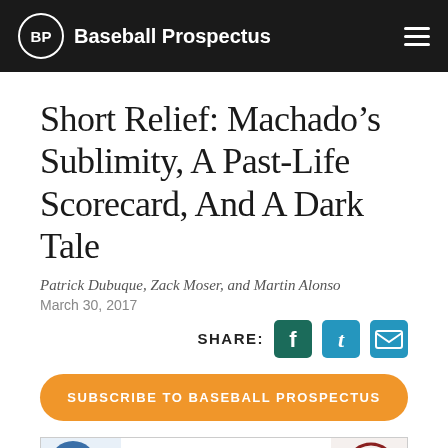Baseball Prospectus
Short Relief: Machado's Sublimity, A Past-Life Scorecard, And A Dark Tale
Patrick Dubuque, Zack Moser, and Martin Alonso
March 30, 2017
SHARE:
SUBSCRIBE TO BASEBALL PROSPECTUS
[Figure (illustration): Short Relief article image strip showing a baseball player and BP logo]